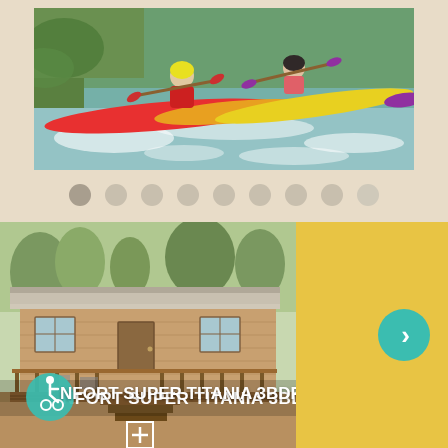[Figure (photo): Two kayakers paddling colorful kayaks (red-to-yellow gradient and yellow) on white water rapids, wearing helmets and life vests]
[Figure (infographic): A row of 9 circular navigation dots, the first (leftmost) being slightly darker/active, the rest lighter gray, used as a slideshow indicator]
[Figure (photo): A wooden mobile home / chalet cabin with a covered terrace deck, trees in background, on a campsite. Navigation arrows on left and right sides. Text overlay reads 'CONFORT SUPER TITANIA 3BDR.' with a wheelchair accessibility icon on the left. A plus/zoom icon is shown at the bottom center.]
CONFORT SUPER TITANIA 3BDR.